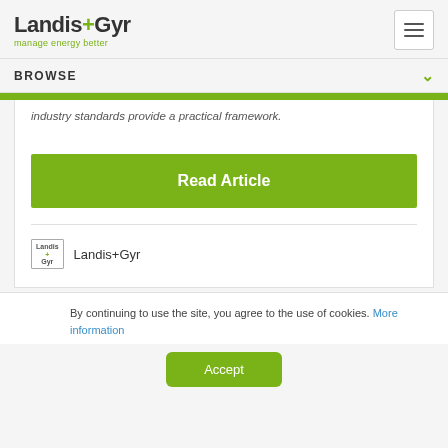Landis+Gyr – manage energy better
BROWSE
industry standards provide a practical framework.
Read Article
Landis+Gyr
By continuing to use the site, you agree to the use of cookies. More information
Accept